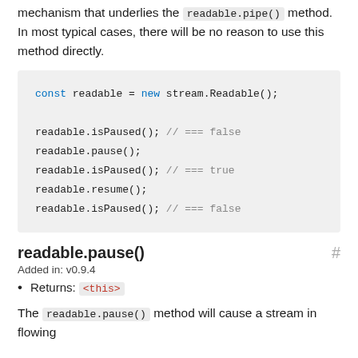mechanism that underlies the readable.pipe() method. In most typical cases, there will be no reason to use this method directly.
const readable = new stream.Readable();

readable.isPaused(); // === false
readable.pause();
readable.isPaused(); // === true
readable.resume();
readable.isPaused(); // === false
readable.pause()
Added in: v0.9.4
Returns: <this>
The readable.pause() method will cause a stream in flowing